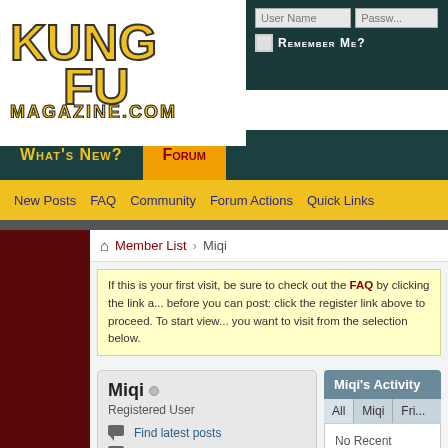[Figure (logo): Kung Fu Magazine.com logo with stylized yellow lettering]
User Name | Password | Remember Me?
What's New? | Forum
New Posts  FAQ  Community  Forum Actions  Quick Links
Member List  Miqi
If this is your first visit, be sure to check out the FAQ by clicking the link a... before you can post: click the register link above to proceed. To start view... you want to visit from the selection below.
Miqi
Registered User
Find latest posts
Find latest started threads
View Articles
View Blog Entries
Join Date: 07-08-2011
Last Activity: 05-07-2015 07:13 AM
Miqi's Activity
All  Miqi  Fri...
No Recent Activity